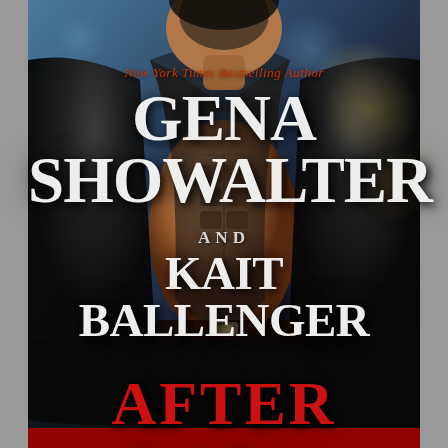[Figure (illustration): Book cover showing a muscular man in an open black leather jacket, with bokeh city lights in the background. The cover features author names GENA SHOWALTER AND KAIT BALLENGER, with the book title AFTER DARK.]
New York Times Bestselling Author
GENA SHOWALTER
AND
KAIT BALLENGER
AFTER DARK